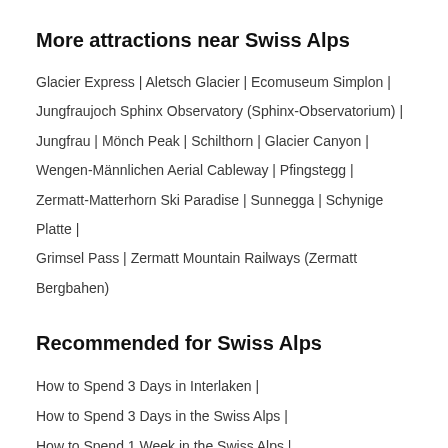More attractions near Swiss Alps
Glacier Express | Aletsch Glacier | Ecomuseum Simplon | Jungfraujoch Sphinx Observatory (Sphinx-Observatorium) | Jungfrau | Mönch Peak | Schilthorn | Glacier Canyon | Wengen-Männlichen Aerial Cableway | Pfingstegg | Zermatt-Matterhorn Ski Paradise | Sunnegga | Schynige Platte | Grimsel Pass | Zermatt Mountain Railways (Zermatt Bergbahen)
Recommended for Swiss Alps
How to Spend 3 Days in Interlaken | How to Spend 3 Days in the Swiss Alps | How to Spend 1 Week in the Swiss Alps | How to Spend 3 Days in St. Moritz | How to Spend 2 Days in Interlaken |